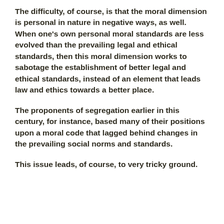The difficulty, of course, is that the moral dimension is personal in nature in negative ways, as well. When one's own personal moral standards are less evolved than the prevailing legal and ethical standards, then this moral dimension works to sabotage the establishment of better legal and ethical standards, instead of an element that leads law and ethics towards a better place.
The proponents of segregation earlier in this century, for instance, based many of their positions upon a moral code that lagged behind changes in the prevailing social norms and standards.
This issue leads, of course, to very tricky ground.